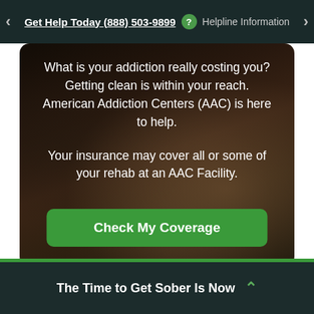Get Help Today (888) 503-9899  ?  Helpline Information
What is your addiction really costing you? Getting clean is within your reach. American Addiction Centers (AAC) is here to help.
Your insurance may cover all or some of your rehab at an AAC Facility.
Check My Coverage
The Time to Get Sober Is Now